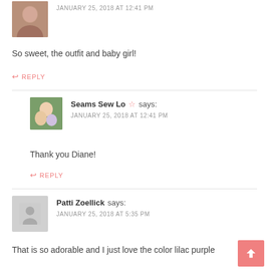[Figure (photo): Avatar photo of a smiling woman with dark hair]
JANUARY 25, 2018 AT 12:41 PM
So sweet, the outfit and baby girl!
↩ REPLY
[Figure (photo): Avatar photo of two children, Seams Sew Lo blog author]
Seams Sew Lo ☆ says:
JANUARY 25, 2018 AT 12:41 PM
Thank you Diane!
↩ REPLY
[Figure (photo): Default avatar placeholder silhouette for Patti Zoellick]
Patti Zoellick says:
JANUARY 25, 2018 AT 5:35 PM
That is so adorable and I just love the color lilac purple